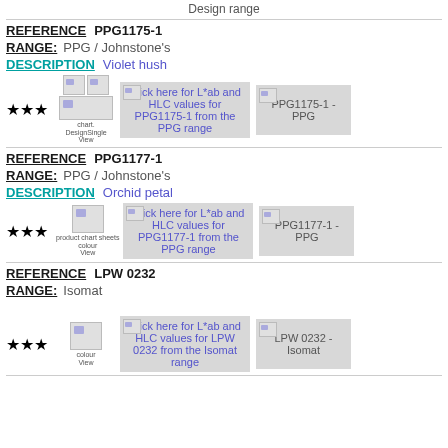Design range
REFERENCE   PPG1175-1
RANGE:   PPG / Johnstone's
DESCRIPTION   Violet hush
[Figure (other): Stars rating and thumbnail images with click box for PPG1175-1 L*ab and HLC values]
REFERENCE   PPG1177-1
RANGE:   PPG / Johnstone's
DESCRIPTION   Orchid petal
[Figure (other): Stars rating and thumbnail images with click box for PPG1177-1 L*ab and HLC values]
REFERENCE   LPW 0232
RANGE:   Isomat
[Figure (other): Stars rating and thumbnail images with click box for LPW 0232 L*ab and HLC values]